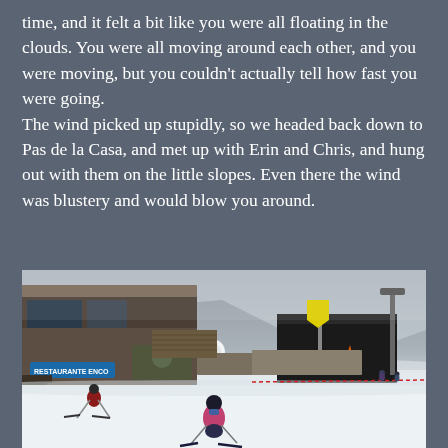time, and it felt a bit like you were all floating in the clouds. You were all moving around each other, and you were moving, but you couldn't actually tell how fast you were going. The wind picked up stupidly, so we headed back down to Pas de la Casa, and met up with Erin and Chris, and hung out with them on the little slopes. Even there the wind was blustery and would blow you around.
[Figure (photo): Outdoor ski resort scene showing a stone building with signage including 'ENCO' text, snowy slopes, a yellow warning sign post, orange cone, and two skiers in the foreground on a cloudy day at Pas de la Casa.]